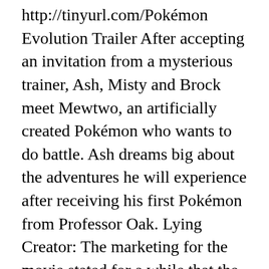http://tinyurl.com/PokémonEvolution Trailer After accepting an invitation from a mysterious trainer, Ash, Misty and Brock meet Mewtwo, an artificially created Pokémon who wants to do battle. Ash dreams big about the adventures he will experience after receiving his first Pokémon from Professor Oak. Lying Creator: The marketing for the movie stated for a while that the Armored Mewtwo design would only appear in this movie and nowhere else; cue Pokémon GO revealing a trailer in which Armored Mewtwo will be available as a limited time raid, and again for the international release. NEXT MOVIE . Pokémon Movie 14 – Black: Victini and Reshiram. Pokémon: Mewtwo